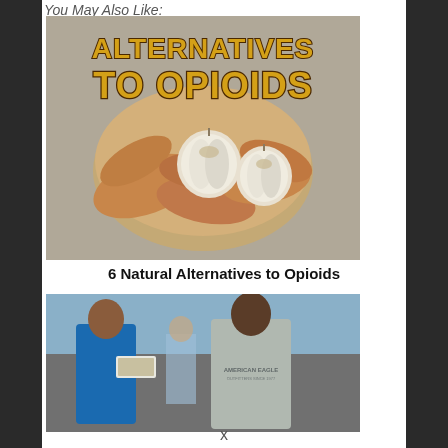You May Also Like:
[Figure (photo): Book cover or promotional image titled 'Alternatives to Opioids' showing a wooden bowl filled with ginger root and garlic bulbs on a gray background, with large bold gold text reading 'ALTERNATIVES TO OPIOIDS']
6 Natural Alternatives to Opioids
[Figure (photo): Photo of people at what appears to be an outdoor event or food stand; a woman in a blue sparkly dress holding a food container and a man in a gray American Eagle t-shirt]
x